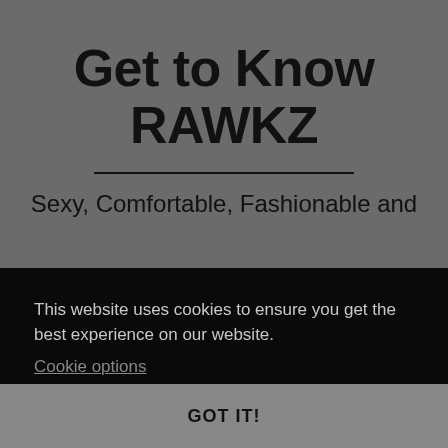Get to Know RAWKZ
Sexy, Comfortable, Fashionable and
This website uses cookies to ensure you get the best experience on our website.
Cookie options
GOT IT!